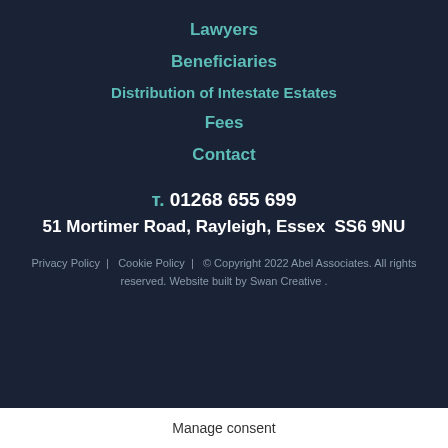Lawyers
Beneficiaries
Distribution of Intestate Estates
Fees
Contact
T. 01268 655 699
51 Mortimer Road, Rayleigh, Essex  SS6 9NU
Privacy Policy |  Cookie Policy |  © Copyright 2022 Abel Associates. All rights reserved. Website built by Swan Creative .
Manage consent